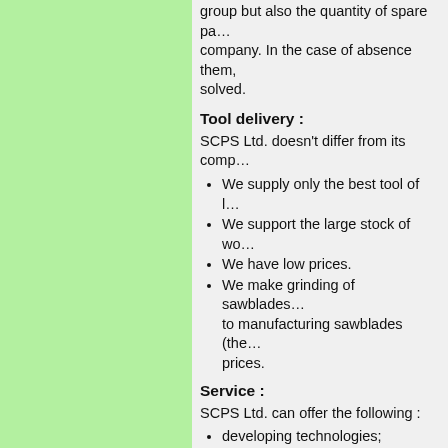group but also the quantity of spare parts needed by the company. In the case of absence them, this problem can be solved.
Tool delivery :
SCPS Ltd. doesn't differ from its comp...
We supply only the best tool of l...
We support the large stock of wo...
We have low prices.
We make grinding of sawblades... to manufacturing sawblades (the... prices.
Service :
SCPS Ltd. can offer the following :
developing technologies;
calculation technological lines;
equipment selection for calculate...
developing detailed place locatio... mechanization and automation p... fans, planning pneumatic system...